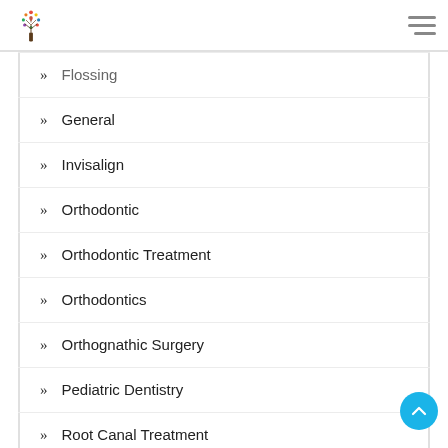Dental clinic navigation header with logo and hamburger menu
Flossing
General
Invisalign
Orthodontic
Orthodontic Treatment
Orthodontics
Orthognathic Surgery
Pediatric Dentistry
Root Canal Treatment